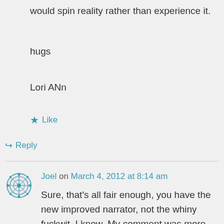would spin reality rather than experience it.
hugs
Lori ANn
★ Like
↪ Reply
Joel on March 4, 2012 at 8:14 am
Sure, that's all fair enough, you have the new improved narrator, not the whiny fuckwit. I know. My comment was more that there is always going to be narration. Why pretend otherwise? Sometimes the